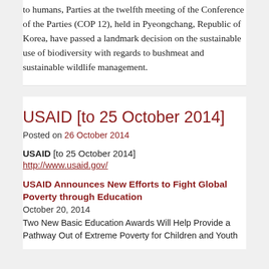to humans, Parties at the twelfth meeting of the Conference of the Parties (COP 12), held in Pyeongchang, Republic of Korea, have passed a landmark decision on the sustainable use of biodiversity with regards to bushmeat and sustainable wildlife management.
USAID [to 25 October 2014]
Posted on 26 October 2014
USAID [to 25 October 2014]
http://www.usaid.gov/
USAID Announces New Efforts to Fight Global Poverty through Education
October 20, 2014
Two New Basic Education Awards Will Help Provide a Pathway Out of Extreme Poverty for Children and Youth